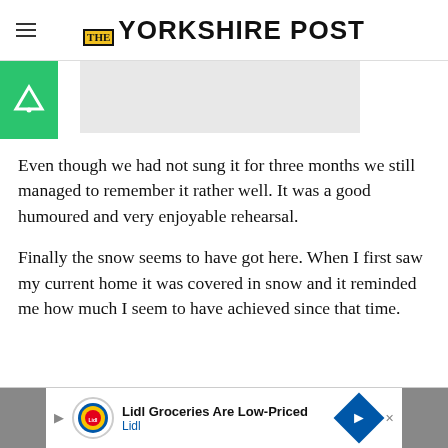THE YORKSHIRE POST
[Figure (other): Advertisement banner placeholder (grey rectangle)]
Even though we had not sung it for three months we still managed to remember it rather well. It was a good humoured and very enjoyable rehearsal.
Finally the snow seems to have got here. When I first saw my current home it was covered in snow and it reminded me how much I seem to have achieved since that time.
[Figure (other): Lidl advertisement banner: 'Lidl Groceries Are Low-Priced Lidl']